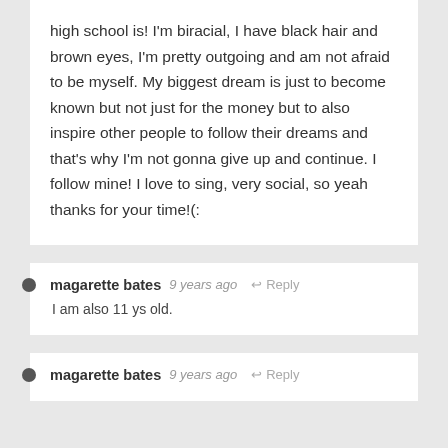high school is! I'm biracial, I have black hair and brown eyes, I'm pretty outgoing and am not afraid to be myself. My biggest dream is just to become known but not just for the money but to also inspire other people to follow their dreams and that's why I'm not gonna give up and continue. I follow mine! I love to sing, very social, so yeah thanks for your time!(:
magarette bates  9 years ago  Reply
I am also 11 ys old.
magarette bates  9 years ago  Reply